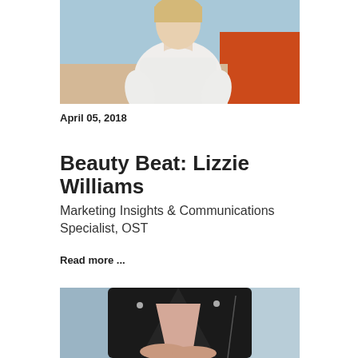[Figure (photo): Woman in white knit sweater standing in front of a light blue and orange wall background, cropped at upper body]
April 05, 2018
Beauty Beat: Lizzie Williams
Marketing Insights & Communications Specialist, OST
Read more ...
[Figure (photo): Woman in black leather jacket over a light pink blouse, hands crossed, light blue background, cropped at torso]